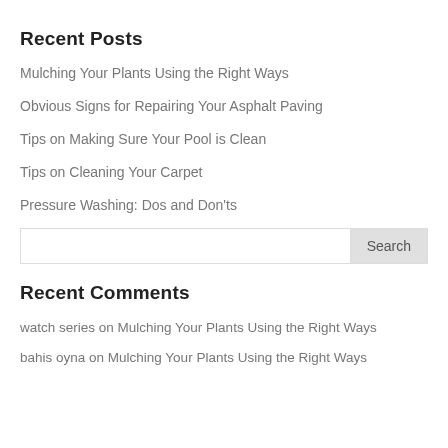Recent Posts
Mulching Your Plants Using the Right Ways
Obvious Signs for Repairing Your Asphalt Paving
Tips on Making Sure Your Pool is Clean
Tips on Cleaning Your Carpet
Pressure Washing: Dos and Don'ts
Recent Comments
watch series on Mulching Your Plants Using the Right Ways
bahis oyna on Mulching Your Plants Using the Right Ways